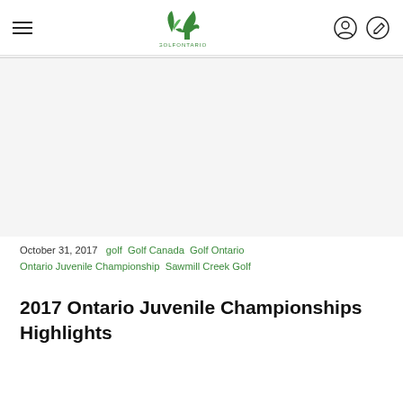Golf Ontario
[Figure (logo): Golf Ontario logo — green leaf/maple design with text GOLFONTARIO below]
[Figure (photo): Article hero image placeholder (white/light grey area)]
October 31, 2017  golf  Golf Canada  Golf Ontario  Ontario Juvenile Championship  Sawmill Creek Golf
2017 Ontario Juvenile Championships Highlights